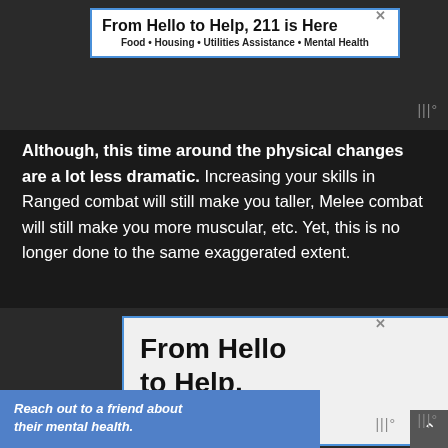[Figure (screenshot): Advertisement banner: 'From Hello to Help, 211 is Here' with subtext 'Food • Housing • Utilities Assistance • Mental Health' on white background with blue border, close X button visible]
Although, this time around the physical changes are a lot less dramatic. Increasing your skills in Ranged combat will still make you taller, Melee combat will still make you more muscular, etc. Yet, this is no longer done to the same exaggerated extent.
[Figure (screenshot): Advertisement: 'From Hello to Help, 211 is Here' with photo of elderly man's face on right side, blue border, close X button visible]
Reach out to a friend about their mental health.